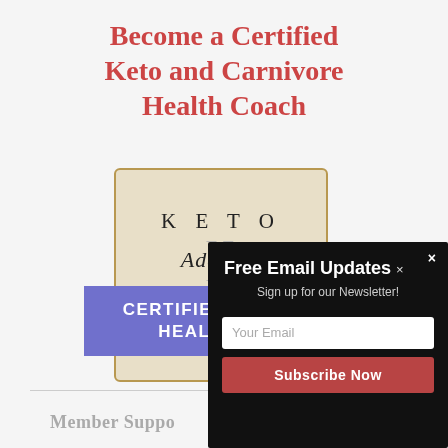Become a Certified Keto and Carnivore Health Coach
[Figure (logo): Keto Adapted certificate card with gold border, cream background, showing 'KETO Adapted' text. Overlaid with purple banner reading 'CERTIFIED KETOGENIC HEALTH COACH'. Text at bottom reads 'MARIA MIND'.]
[Figure (screenshot): Dark popup overlay with 'Free Email Updates' heading, 'Sign up for our Newsletter!' subtext, a 'Your Email' input field, and a red 'Subscribe Now' button. Close X button in top right.]
Member Suppo